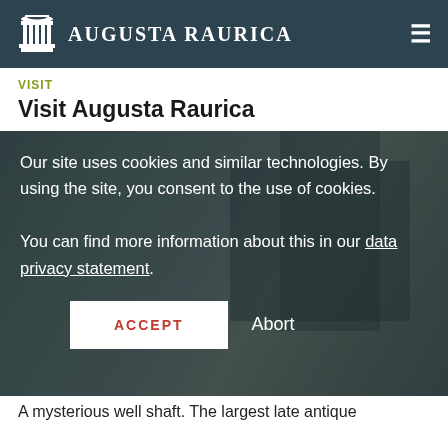Augusta Raurica
VISIT
Visit Augusta Raurica
[Figure (photo): Photo of Augusta Raurica museum entrance with people in Roman costumes, overlaid with a cookie consent dialog. The dialog reads: 'Our site uses cookies and similar technologies. By using the site, you consent to the use of cookies. You can find more information about this in our data privacy statement.' With ACCEPT and Abort buttons.]
A mysterious well shaft. The largest late antique